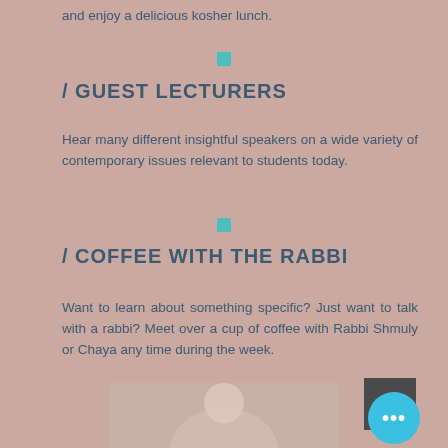and enjoy a delicious kosher lunch.
/ GUEST LECTURERS
Hear many different insightful speakers on a wide variety of contemporary issues relevant to students today.
/ COFFEE WITH THE RABBI
Want to learn about something specific? Just want to talk with a rabbi? Meet over a cup of coffee with Rabbi Shmuly or Chaya any time during the week.
[Figure (photo): Partial photo visible at bottom of page, appears to show a person]